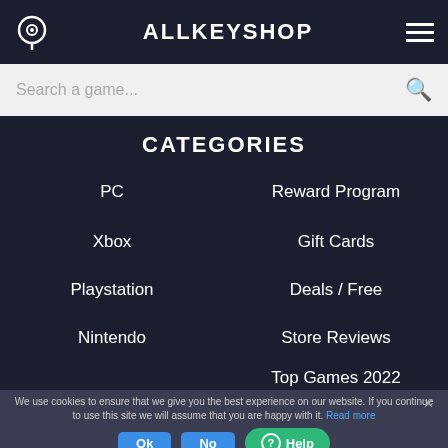ALLKEYSHOP
Search a game...
CATEGORIES
PC
Xbox
Playstation
Nintendo
Reward Program
Gift Cards
Deals / Free
Store Reviews
Top Games 2022
We use cookies to ensure that we give you the best experience on our website. If you continue to use this site we will assume that you are happy with it. Read more
Ok  No  Help